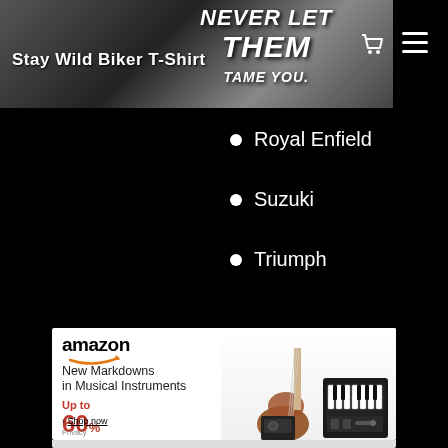Stay Wild Biker T-Shirt
Royal Enfield
Suzuki
Triumph
[Figure (screenshot): Amazon advertisement for New Markdowns in Musical Instruments, Up to 60% off, Shop now. Features guitar, amp, and keyboard images. Privacy link at bottom.]